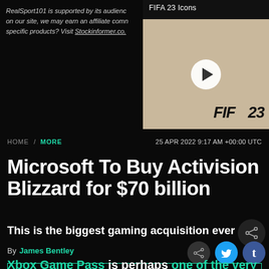RealSport101 is supported by its audience. When you purchase through links on our site, we may earn an affiliate commission. Learn more about specific products? Visit Stockinformer.co.
[Figure (screenshot): FIFA 23 Icons video thumbnail with play button overlay showing FIFA 23 logo]
HOME / MORE   25 APR 2022 9:17 AM +00:00 UTC
Microsoft To Buy Activision Blizzard for $70 billion
This is the biggest gaming acquisition ever
By James Bentley
TABLE OF CONTENTS
Xbox Game Pass is perhaps one of the very